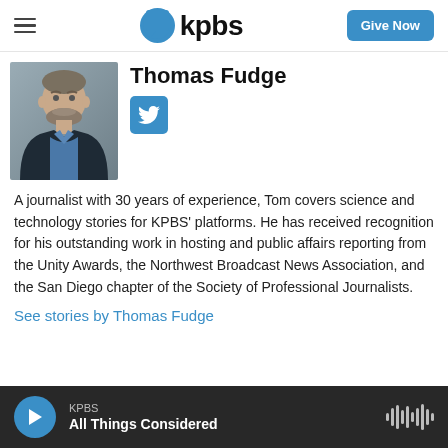KPBS — Give Now
Thomas Fudge
[Figure (photo): Headshot of Thomas Fudge, a man with short gray hair and beard wearing a dark blazer and blue shirt, photographed against a gray background]
A journalist with 30 years of experience, Tom covers science and technology stories for KPBS' platforms. He has received recognition for his outstanding work in hosting and public affairs reporting from the Unity Awards, the Northwest Broadcast News Association, and the San Diego chapter of the Society of Professional Journalists.
See stories by Thomas Fudge
KPBS All Things Considered